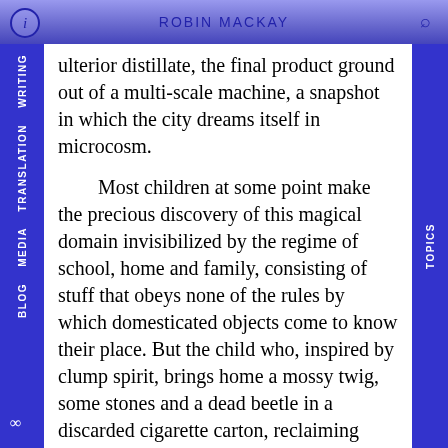ROBIN MACKAY
ulterior distillate, the final product ground out of a multi-scale machine, a snapshot in which the city dreams itself in microcosm.
Most children at some point make the precious discovery of this magical domain invisibilized by the regime of school, home and family, consisting of stuff that obeys none of the rules by which domesticated objects come to know their place. But the child who, inspired by clump spirit, brings home a mossy twig, some stones and a dead beetle in a discarded cigarette carton, reclaiming materials through which they’re able to express that part of themselves for which there is no place at home, will surely be punished. Don’t play in the gutter is an edict disobeyed only by wayward urchins and chronic flanôeurs, for whom the street is not a purposeful